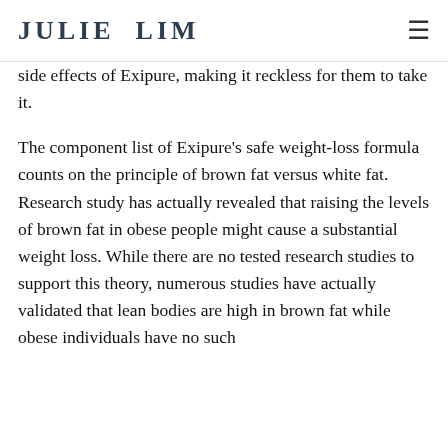JULIE LIM
side effects of Exipure, making it reckless for them to take it.
The component list of Exipure's safe weight-loss formula counts on the principle of brown fat versus white fat. Research study has actually revealed that raising the levels of brown fat in obese people might cause a substantial weight loss. While there are no tested research studies to support this theory, numerous studies have actually validated that lean bodies are high in brown fat while obese individuals have no such